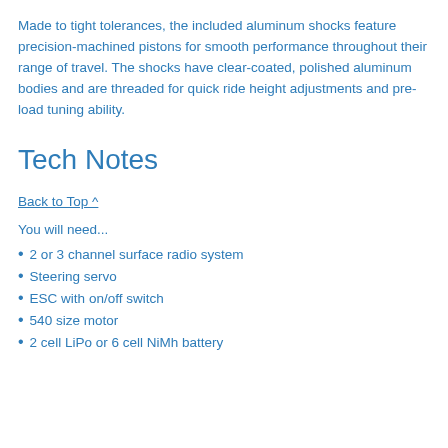Made to tight tolerances, the included aluminum shocks feature precision-machined pistons for smooth performance throughout their range of travel. The shocks have clear-coated, polished aluminum bodies and are threaded for quick ride height adjustments and pre-load tuning ability.
Tech Notes
Back to Top ^
You will need...
2 or 3 channel surface radio system
Steering servo
ESC with on/off switch
540 size motor
2 cell LiPo or 6 cell NiMh battery